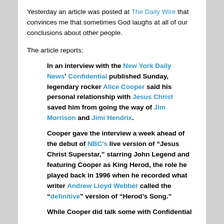Yesterday an article was posted at The Daily Wire that convinces me that sometimes God laughs at all of our conclusions about other people.
The article reports:
In an interview with the New York Daily News' Confidential published Sunday, legendary rocker Alice Cooper said his personal relationship with Jesus Christ saved him from going the way of Jim Morrison and Jimi Hendrix.
Cooper gave the interview a week ahead of the debut of NBC's live version of “Jesus Christ Superstar,” starring John Legend and featuring Cooper as King Herod, the role he played back in 1996 when he recorded what writer Andrew Lloyd Webber called the “definitive” version of “Herod’s Song.”
While Cooper did talk some with Confidential